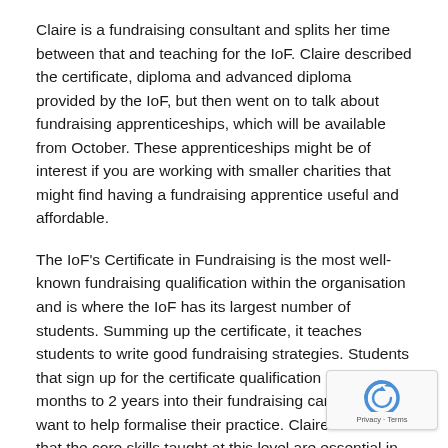Claire is a fundraising consultant and splits her time between that and teaching for the IoF. Claire described the certificate, diploma and advanced diploma provided by the IoF, but then went on to talk about fundraising apprenticeships, which will be available from October. These apprenticeships might be of interest if you are working with smaller charities that might find having a fundraising apprentice useful and affordable.
The IoF's Certificate in Fundraising is the most well-known fundraising qualification within the organisation and is where the IoF has its largest number of students. Summing up the certificate, it teaches students to write good fundraising strategies. Students that sign up for the certificate qualification are often 18 months to 2 years into their fundraising careers and want to help formalise their practice. Claire believes that the core skills taught at this level are essential in helping people advance in their fundraising car... qualification teaches modules and processes that can be us... and will also be the fundamentals to be used as your career...